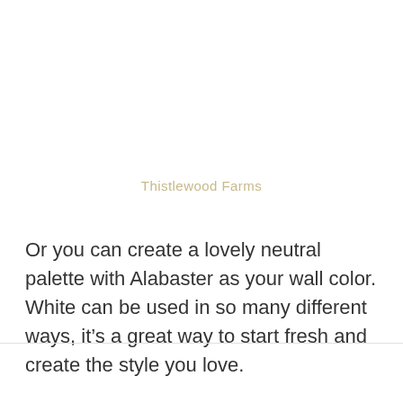Thistlewood Farms
Or you can create a lovely neutral palette with Alabaster as your wall color. White can be used in so many different ways, it’s a great way to start fresh and create the style you love.